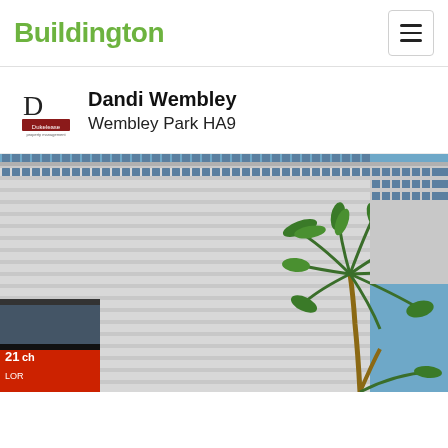Buildington
Dandi Wembley
Wembley Park HA9
[Figure (photo): Exterior photo of a tall multi-storey office/residential building with a white/grey grid facade of windows and concrete, a palm tree in the foreground right, blue sky background, and a billboard/signage visible at the lower left.]